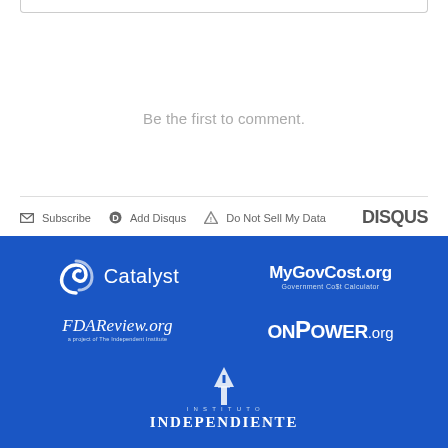Be the first to comment.
Subscribe  Add Disqus  Do Not Sell My Data  DISQUS
[Figure (logo): Catalyst logo with swirl icon and text 'Catalyst' on blue background]
[Figure (logo): MyGovCost.org Government Cost Calculator logo on blue background]
[Figure (logo): FDAReview.org - a project of The Independent Institute logo on blue background]
[Figure (logo): ONPower.org logo on blue background]
[Figure (logo): Instituto Independiente logo with lighthouse icon on blue background]